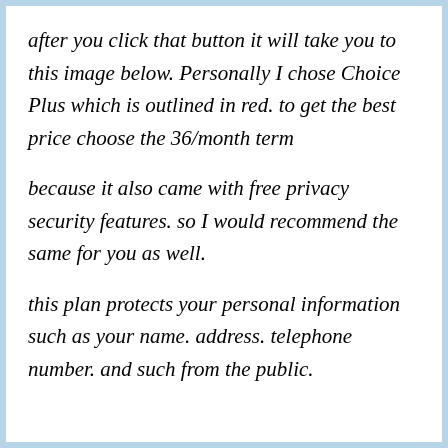after you click that button it will take you to this image below. Personally I chose Choice Plus which is outlined in red. to get the best price choose the 36/month term
because it also came with free privacy security features. so I would recommend the same for you as well.
this plan protects your personal information such as your name. address. telephone number. and such from the public.